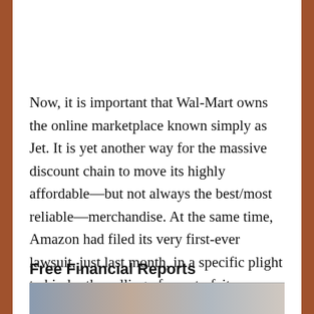Now, it is important that Wal-Mart owns the online marketplace known simply as Jet. It is yet another way for the massive discount chain to move its highly affordable—but not always the best/most reliable—merchandise. At the same time, Amazon had filed its very first-ever lawsuit, just last month, in a specific plight to hinder the selling of counterfeit merchandise through its long-respected online interface.
Free Financial Reports
[Figure (photo): Partial view of image strip at bottom of page, partially cut off]